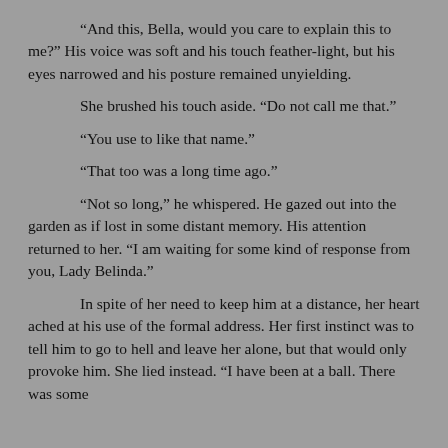“And this, Bella, would you care to explain this to me?” His voice was soft and his touch feather-light, but his eyes narrowed and his posture remained unyielding.
She brushed his touch aside. “Do not call me that.”
“You use to like that name.”
“That too was a long time ago.”
“Not so long,” he whispered. He gazed out into the garden as if lost in some distant memory. His attention returned to her. “I am waiting for some kind of response from you, Lady Belinda.”
In spite of her need to keep him at a distance, her heart ached at his use of the formal address. Her first instinct was to tell him to go to hell and leave her alone, but that would only provoke him. She lied instead. “I have been at a ball. There was some